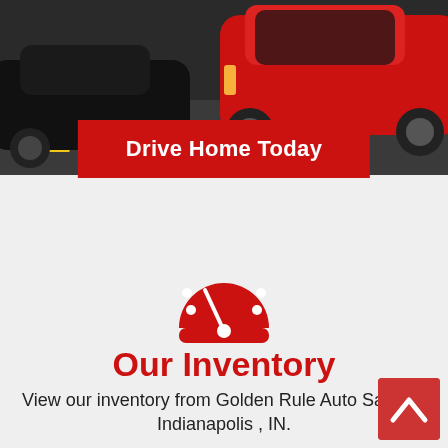[Figure (photo): Top banner photo showing cars on a dark road/highway background — a black car on the left and a red car on the right]
Drive Home Today
Subject to Credit Approval
[Figure (illustration): Red speedometer/dashboard icon]
Our Inventory
View our inventory from Golden Rule Auto Sales in Indianapolis , IN.
[Figure (illustration): Red document/finance icon with dollar sign]
Apply To...